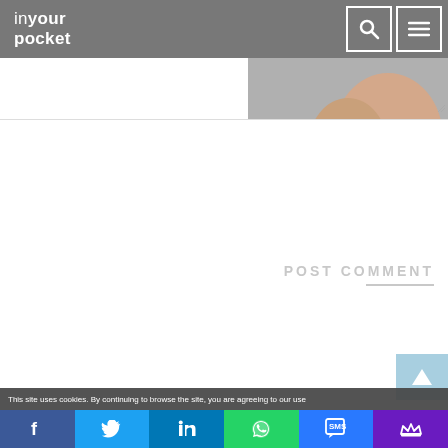inyour pocket
[Figure (screenshot): Textarea input field with a hand photograph partially visible on the right side]
POST COMMENT
[Figure (screenshot): Scroll-to-top button (light blue with upward arrow)]
This site uses cookies. By continuing to browse the site, you are agreeing to our use...
[Figure (infographic): Social sharing bar with Facebook, Twitter, LinkedIn, WhatsApp, SMS, and Crown icons]